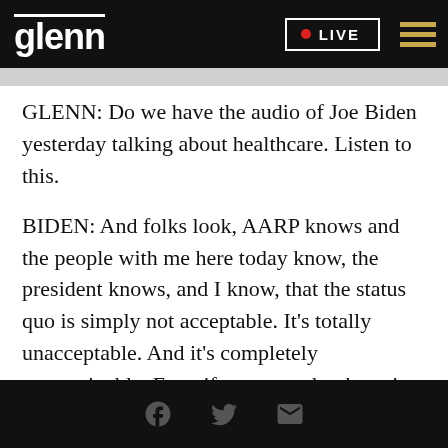glenn | LIVE
GLENN: Do we have the audio of Joe Biden yesterday talking about healthcare. Listen to this.
BIDEN: And folks look, AARP knows and the people with me here today know, the president knows, and I know, that the status quo is simply not acceptable. It's totally unacceptable. And it's completely unsustainable. Even if we wanted to keep it the way we have it now. It can't do it financially. We're going to go bankrupt as a nation. Now, people when I say that look at me and say, What are you talking about,
Social share icons: Facebook, Twitter, Email